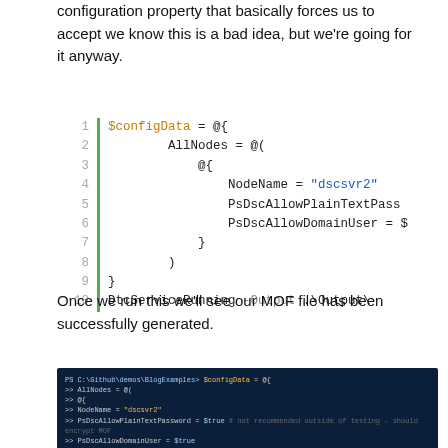configuration property that basically forces us to accept we know this is a bad idea, but we're going for it anyway.
[Figure (screenshot): PowerShell code block with line numbers 1-10 showing $configData configuration with AllNodes, NodeName set to 'dscsvr2', PsDscAllowPlainTextPassword, PsDscAllowDomainUser, and DtcServiceRunning -Output .\Output\]
Once we run this we'll see our MOF file has been successfully generated.
[Figure (screenshot): Dark blue PowerShell terminal screenshot showing execution of $configData with AllNodes containing NodeName='dscsvr2', PsDscAllowPlainTextPassword = $true, PsDscAllowDomainUser = $true]